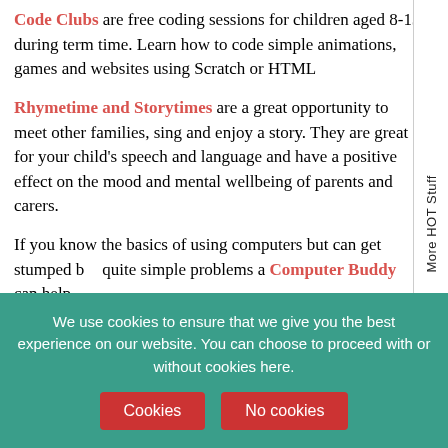Code Clubs are free coding sessions for children aged 8-13 during term time. Learn how to code simple animations, games and websites using Scratch or HTML
Rhymetime and Storytimes are a great opportunity to meet other families, sing and enjoy a story. They are great for your child's speech and language and have a positive effect on the mood and mental wellbeing of parents and carers.
If you know the basics of using computers but can get stumped by quite simple problems a Computer Buddy can help.
Energy Advice Desk with Energise Sussex, obtain free support w...
[Figure (other): Vertical sidebar tab with text 'More HOT Stuff' rotated 90 degrees]
We use cookies to ensure that we give you the best experience on our website. You can choose to proceed with or without cookies here.